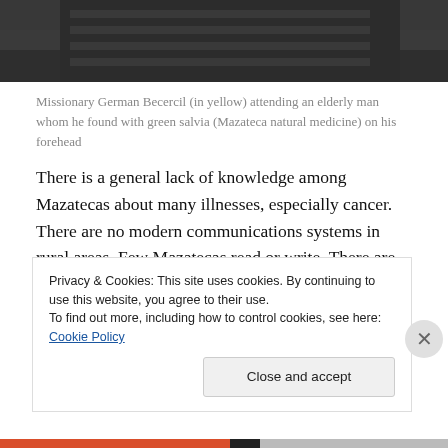[Figure (photo): Partial photo showing people, cropped at top of page — dark background with striped clothing visible]
Missionary German Becercil (in yellow) attending an elderly man whom he found with green salvia (Mazateca natural medicine) on his forehead
There is a general lack of knowledge among Mazatecas about many illnesses, especially cancer. There are no modern communications systems in rural areas. Few Mazatecas read or write. There are rarely funds to consult with a physician in Huautla, or to pay for medicine.  “The situation is hard for the communities and hinders a...
Privacy & Cookies: This site uses cookies. By continuing to use this website, you agree to their use.
To find out more, including how to control cookies, see here: Cookie Policy
Close and accept